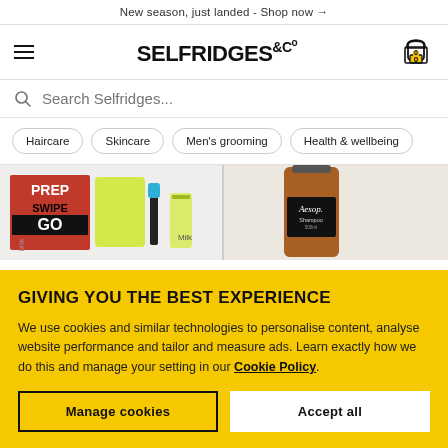New season, just landed - Shop now →
[Figure (logo): Selfridges & Co logo with hamburger menu and cart icon showing 0 items]
Search Selfridges...
Haircare
Skincare
Men's grooming
Health & wellbeing
[Figure (photo): Milk Makeup PREP SWIPE GO product set with mascara and skincare items]
[Figure (photo): Aesop amber bottle of shampoo]
GIVING YOU THE BEST EXPERIENCE
We use cookies and similar technologies to personalise content, analyse website performance and tailor and measure ads. Learn exactly how we do this and manage your setting in our Cookie Policy.
Manage cookies
Accept all